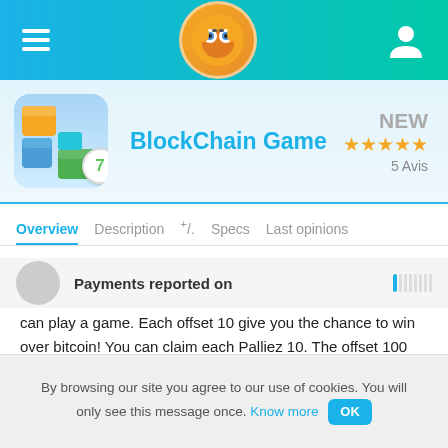[Figure (screenshot): Website header bar with hamburger menu icon on left, fox mascot logo in center, user account icon on right, on a blue-green gradient background]
[Figure (screenshot): BlockChain Game app listing showing app icon with colorful blocks and number 7 badge, app name in blue, NEW badge in gray, 4.5 star rating in orange, and 5 Avis text]
Overview | Description | +/. | Specs | Last opinions
Block Chain Game is an application created by Bitcoin Alien. They also created the AlienRun application. Every hour you can play a game. Each offset 10 give you the chance to win over bitcoin! You can claim each Palliez 10. The offset 100 being the most profitable. You earn 3000 satoshi (0.00003 BTC...
Payments reported on
By browsing our site you agree to our use of cookies. You will only see this message once. Know more OK